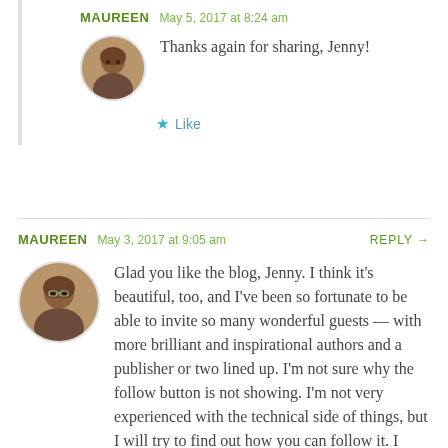MAUREEN   May 5, 2017 at 8:24 am
Thanks again for sharing, Jenny!
Like
MAUREEN   May 3, 2017 at 9:05 am   REPLY →
Glad you like the blog, Jenny. I think it's beautiful, too, and I've been so fortunate to be able to invite so many wonderful guests — with more brilliant and inspirational authors and a publisher or two lined up. I'm not sure why the follow button is not showing. I'm not very experienced with the technical side of things, but I will try to find out how you can follow it. I know others have certainly been able to